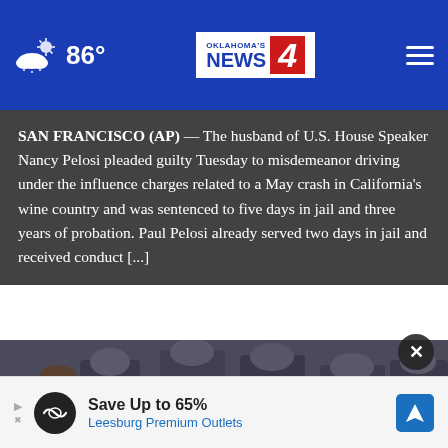86° Oklahoma's News 4
SAN FRANCISCO (AP) — The husband of U.S. House Speaker Nancy Pelosi pleaded guilty Tuesday to misdemeanor driving under the influence charges related to a May crash in California's wine country and was sentenced to five days in jail and three years of probation. Paul Pelosi already served two days in jail and received conduct [...]
[Figure (photo): Photo of military personnel in dress uniforms standing in formation, with a figure in the foreground.]
[Figure (infographic): Advertisement banner: Save Up to 65% — Leesburg Premium Outlets]